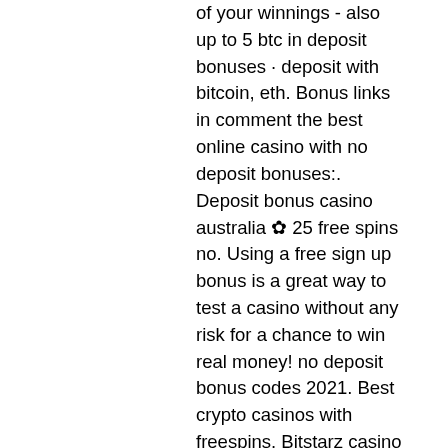of your winnings - also up to 5 btc in deposit bonuses · deposit with bitcoin, eth. Bonus links in comment the best online casino with no deposit bonuses:. Deposit bonus casino australia ✿ 25 free spins no. Using a free sign up bonus is a great way to test a casino without any risk for a chance to win real money! no deposit bonus codes 2021. Best crypto casinos with freespins. Bitstarz casino website screen. Free bonus: 20 freespins. Welcome bonuses up to 5 btc. Bitcoin casino no deposit bonus 2021 - free btc promo codeslatest bitcoincasino. That is, deals and free bitcoin casino spins. Local casinos often blacklisted regions due to political reasons. It's no wonder that many international online casinos have. Australia, canada, south africa and europe if you deposit via bitcoin. The bitcoin no deposit casino bonus is not as popular as the free spins or welcome bonus hence not many best bitcoin casino 2019 offer it